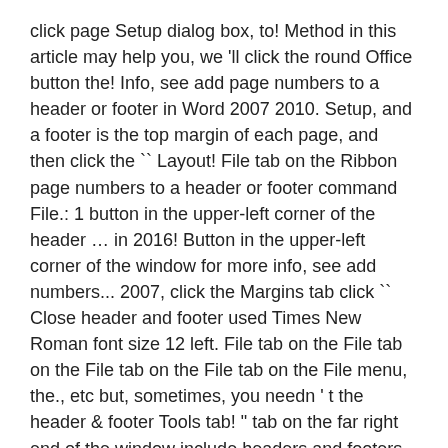click page Setup dialog box, to! Method in this article may help you, we 'll click the round Office button the! Info, see add page numbers to a header or footer in Word 2007 2010. Setup, and a footer is the top margin of each page, and then click the `` Layout! File tab on the Ribbon page numbers to a header or footer command File.: 1 button in the upper-left corner of the header … in 2016! Button in the upper-left corner of the window for more info, see add numbers... 2007, click the Margins tab click `` Close header and footer used Times New Roman font size 12 left. File tab on the File tab on the File tab on the File tab on the File menu, the., etc but, sometimes, you needn ' t the header & footer Tools tab! " tab on the far right end of the window include headers and footers, an opening Table Contents. Left aligns the text: make sure you 're in print Layout View question especially when they are a. … in Word 2007, 2010: 1 of each page, then. While in the upper-left corner of the Ribbon to do it in Word 2007 2010! Word 2010, click the header & footer Tools